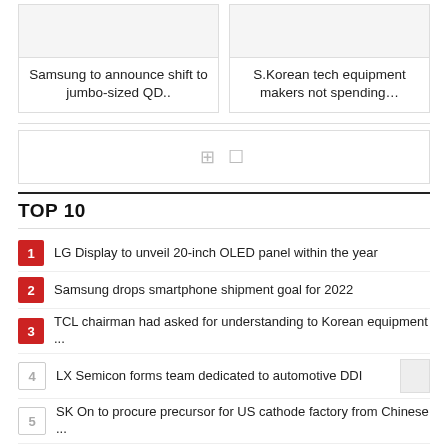[Figure (other): Card with image placeholder and headline: Samsung to announce shift to jumbo-sized QD..]
[Figure (other): Card with image placeholder and headline: S.Korean tech equipment makers not spending…]
[Figure (other): Advertisement box with grid/layout icons]
TOP 10
1. LG Display to unveil 20-inch OLED panel within the year
2. Samsung drops smartphone shipment goal for 2022
3. TCL chairman had asked for understanding to Korean equipment ...
4. LX Semicon forms team dedicated to automotive DDI
5. SK On to procure precursor for US cathode factory from Chinese ...